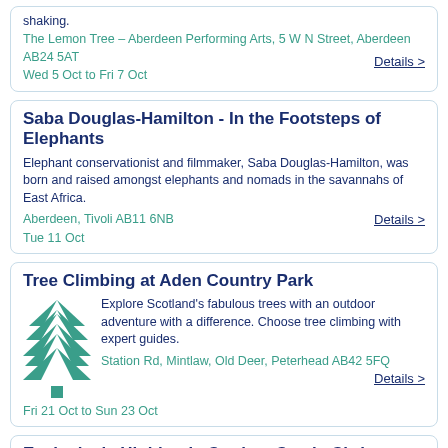shaking.
The Lemon Tree – Aberdeen Performing Arts, 5 W N Street, Aberdeen AB24 5AT
Details >
Wed 5 Oct to Fri 7 Oct
Saba Douglas-Hamilton - In the Footsteps of Elephants
Elephant conservationist and filmmaker, Saba Douglas-Hamilton, was born and raised amongst elephants and nomads in the savannahs of East Africa.
Aberdeen, Tivoli AB11 6NB
Details >
Tue 11 Oct
Tree Climbing at Aden Country Park
Explore Scotland's fabulous trees with an outdoor adventure with a difference. Choose tree climbing with expert guides.
Station Rd, Mintlaw, Old Deer, Peterhead AB42 5FQ
Details >
Fri 21 Oct to Sun 23 Oct
Exclusively Highlands Crathes Castle Christmas Market
Exclusively Highlands hosts it's stunning annual Christmas